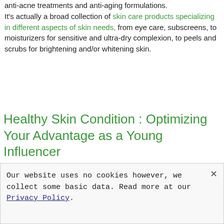anti-acne treatments and anti-aging formulations. It's actually a broad collection of skin care products specializing in different aspects of skin needs, from eye care, subscreens, to moisturizers for sensitive and ultra-dry complexion, to peels and scrubs for brightening and/or whitening skin.
Healthy Skin Condition : Optimizing Your Advantage as a Young Influencer
Our website uses no cookies however, we collect some basic data. Read more at our Privacy Policy.